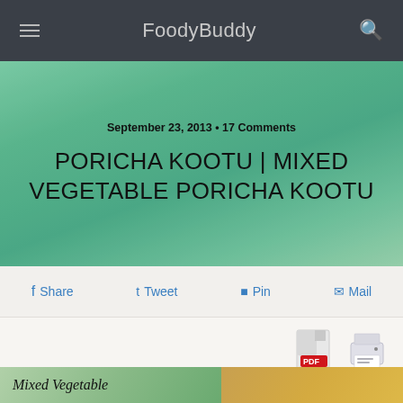FoodyBuddy
September 23, 2013 • 17 Comments
PORICHA KOOTU | MIXED VEGETABLE PORICHA KOOTU
Share
Tweet
Pin
Mail
[Figure (illustration): PDF and print icons for saving/printing the recipe]
[Figure (photo): Bottom image strip showing Mixed Vegetable dish on left and another dish on right]